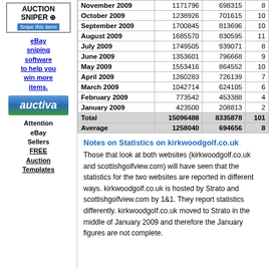[Figure (logo): Auction Sniper logo with crosshair icon and 'Snipe this item!' button]
eBay sniping software to help you win more items.
[Figure (logo): Auctiva logo - blue and green gradient banner]
Attention eBay Sellers FREE Auction Templates
| Month | Col2 | Col3 | Col4 |
| --- | --- | --- | --- |
| November 2009 | 1171796 | 698315 | 8... |
| October 2009 | 1238926 | 701615 | 10... |
| September 2009 | 1700845 | 813696 | 10... |
| August 2009 | 1685570 | 830595 | 11... |
| July 2009 | 1749505 | 939071 | 8... |
| June 2009 | 1353601 | 796668 | 9... |
| May 2009 | 1553416 | 864552 | 10... |
| April 2009 | 1260283 | 726139 | 7... |
| March 2009 | 1042714 | 624105 | 6... |
| February 2009 | 773542 | 453388 | 4... |
| January 2009 | 423500 | 208813 | 2... |
| Total | 15096488 | 8335878 | 101... |
| Average | 1258040 | 694656 | 8... |
Notes on Statistics on kirkwoodgolf.co.uk
Those that look at both websites (kirkwoodgolf.co.uk and scottishgolfview.com) will have seen that the statistics for the two websites are reported in different ways. kirkwoodgolf.co.uk is hosted by Strato and scottishgolfview.com by 1&1. They report statistics differently. kirkwoodgolf.co.uk moved to Strato in the middle of January 2009 and therefore the January figures are not complete.